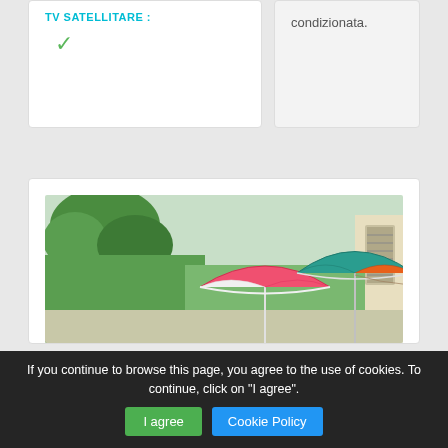TV SATELLITARE:
✓
condizionata.
[Figure (photo): Outdoor patio area with colorful beach umbrellas (pink/white and teal/orange striped) surrounded by green plants and a building in the background]
If you continue to browse this page, you agree to the use of cookies. To continue, click on "I agree".